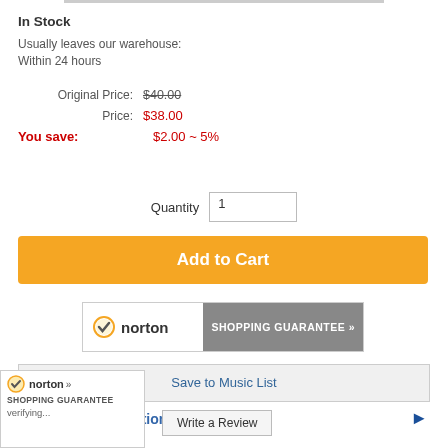In Stock
Usually leaves our warehouse:
Within 24 hours
Original Price:  $40.00
Price:  $38.00
You save:  $2.00 ~ 5%
Quantity  1
Add to Cart
[Figure (logo): Norton Shopping Guarantee banner with checkmark logo]
Save to Music List
Additional Information
[Figure (logo): Norton Shopping Guarantee small badge at bottom left with verifying text]
Write a Review